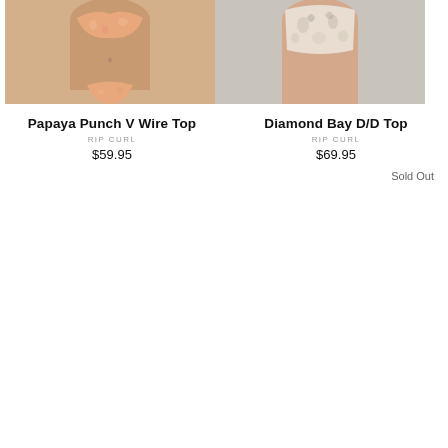[Figure (photo): Cropped photo of a woman wearing a Papaya Punch floral bikini top, showing torso only]
[Figure (photo): Cropped photo of a woman wearing a Diamond Bay floral D/D top, showing torso only; 'Best selling' dropdown selector overlaid in top-right corner]
Papaya Punch V Wire Top
RIP CURL
$59.95
Diamond Bay D/D Top
RIP CURL
$69.95
Sold Out